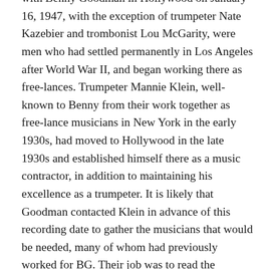with Benny Goodman in Hollywood on January 16, 1947, with the exception of trumpeter Nate Kazebier and trombonist Lou McGarity, were men who had settled permanently in Los Angeles after World War II, and began working there as free-lances. Trumpeter Mannie Klein, well-known to Benny from their work together as free-lance musicians in New York in the early 1930s, had moved to Hollywood in the late 1930s and established himself there as a music contractor, in addition to maintaining his excellence as a trumpeter. It is likely that Goodman contacted Klein in advance of this recording date to gather the musicians that would be needed, many of whom had previously worked for BG. Their job was to read the arrangements and play them perfectly after minimal rehearsal, then to record them with Benny. That is exactly what they did.
Jazz historian Loren Schoenberg has written about the music